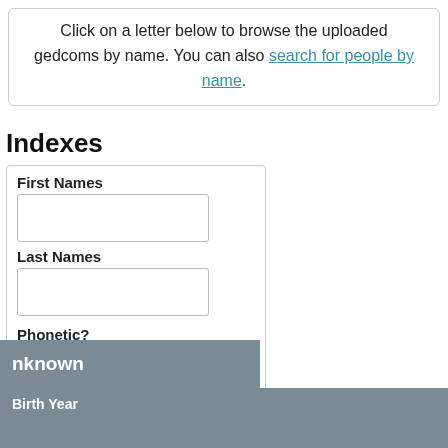Click on a letter below to browse the uploaded gedcoms by name. You can also search for people by name.
Indexes
First Names
Last Names
Phonetic?
none (dropdown)
Gender (radio: selected, Male, Female, Unknown)
nknown
Birth Year